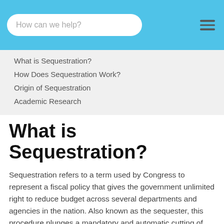How can we help?
What is Sequestration?
How Does Sequestration Work?
Origin of Sequestration
Academic Research
What is Sequestration?
Sequestration refers to a term used by Congress to represent a fiscal policy that gives the government unlimited right to reduce budget across several departments and agencies in the nation. Also known as the sequester, this procedure plunges a mandatory and automatic cutting of over-the-board budget if the Congress is slow or unable to decide on a deficit-reducing budget within an agreed time.